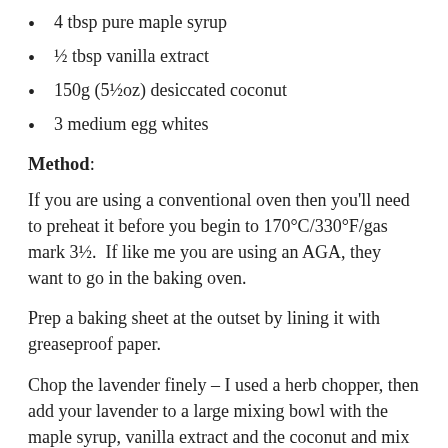4 tbsp pure maple syrup
½ tbsp vanilla extract
150g (5½oz) desiccated coconut
3 medium egg whites
Method:
If you are using a conventional oven then you'll need to preheat it before you begin to 170°C/330°F/gas mark 3½.  If like me you are using an AGA, they want to go in the baking oven.
Prep a baking sheet at the outset by lining it with greaseproof paper.
Chop the lavender finely – I used a herb chopper, then add your lavender to a large mixing bowl with the maple syrup, vanilla extract and the coconut and mix it well. Put it to one side while you prepare the egg whites.